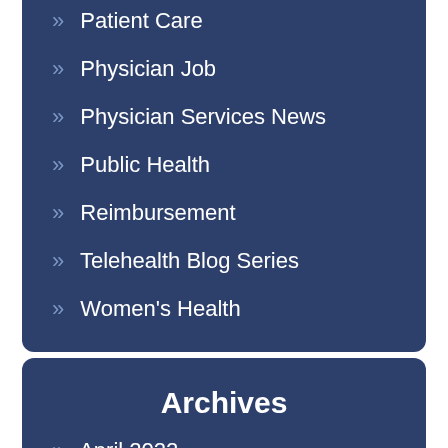» Patient Care
» Physician Job
» Physician Services News
» Public Health
» Reimbursement
» Telehealth Blog Series
» Women's Health
Archives
» April 2022